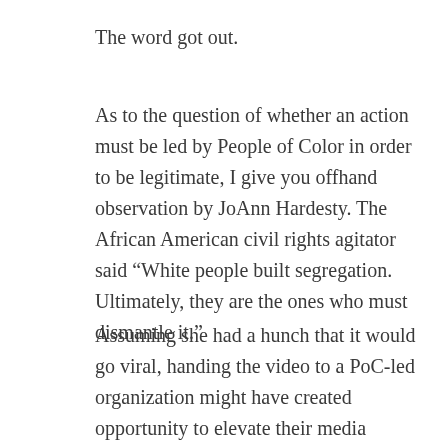The word got out.
As to the question of whether an action must be led by People of Color in order to be legitimate, I give you offhand observation by JoAnn Hardesty. The African American civil rights agitator said “White people built segregation. Ultimately, they are the ones who must dismantle it.”
Assuming she had a hunch that it would go viral, handing the video to a PoC-led organization might have created opportunity to elevate their media presence, and frame